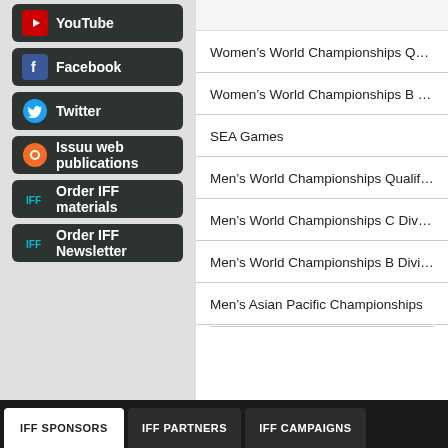YouTube
Facebook
Twitter
Issuu web publications
Order IFF materials
Order IFF Newsletter
Women's World Championships Qualifi…
Women's World Championships B Divi…
SEA Games
Men's World Championships Qualificati…
Men's World Championships C Division…
Men's World Championships B Division…
Men's Asian Pacific Championships
IFF SPONSORS  IFF PARTNERS  IFF CAMPAIGNS